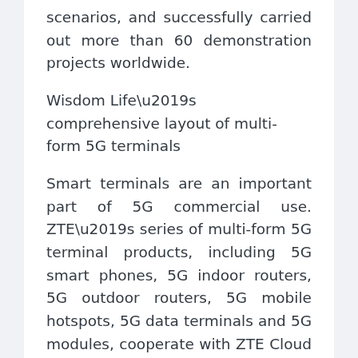scenarios, and successfully carried out more than 60 demonstration projects worldwide.
Wisdom Life’s comprehensive layout of multi-form 5G terminals
Smart terminals are an important part of 5G commercial use. ZTE’s series of multi-form 5G terminal products, including 5G smart phones, 5G indoor routers, 5G outdoor routers, 5G mobile hotspots, 5G data terminals and 5G modules, cooperate with ZTE Cloud to construct a complete ecology and scenario.
In the intelligent exhibition area of the